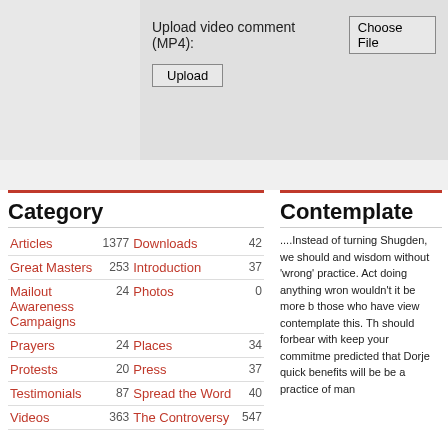Upload video comment (MP4):
Upload
Category
| Category | Count | Category | Count |
| --- | --- | --- | --- |
| Articles | 1377 | Downloads | 42 |
| Great Masters | 253 | Introduction | 37 |
| Mailout Awareness Campaigns | 24 | Photos | 0 |
| Prayers | 24 | Places | 34 |
| Protests | 20 | Press | 37 |
| Testimonials | 87 | Spread the Word | 40 |
| Videos | 363 | The Controversy | 547 |
Contemplate
....Instead of turning Shugden, we should and wisdom without 'wrong' practice. Act doing anything wron wouldn't it be more b those who have view contemplate this. Th should forbear with keep your commitme predicted that Dorje quick benefits will be be a practice of man